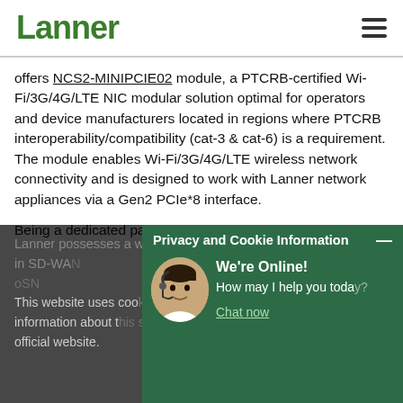Lanner
offers NCS2-MINIPCIE02 module, a PTCRB-certified Wi-Fi/3G/4G/LTE NIC modular solution optimal for operators and device manufacturers located in regions where PTCRB interoperability/compatibility (cat-3 & cat-6) is a requirement. The module enables Wi-Fi/3G/4G/LTE wireless network connectivity and is designed to work with Lanner network appliances via a Gen2 PCIe*8 interface.
Being a dedicated partner in the SD-WAN ecosystem, Lanner possesses a wide range of hardware portfolio in SD-WAN... (partially obscured by overlay)
Privacy and Cookie Information — This website uses cookies... (chat popup overlay)